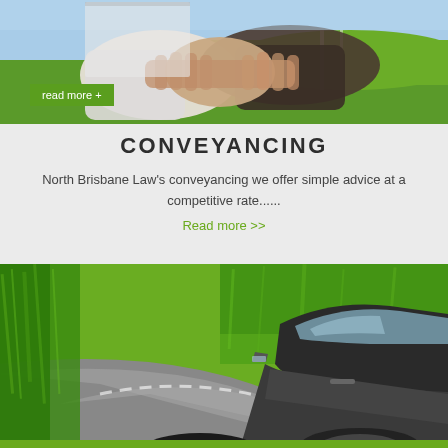[Figure (photo): Two people shaking hands outdoors with green grass and sky in background, with a 'read more +' green button overlay at bottom left]
CONVEYANCING
North Brisbane Law's conveyancing we offer simple advice at a competitive rate......
Read more >>
[Figure (photo): Car driving along a winding road through green trees, motion blur effect, view from side of car]
Green bar at bottom of page